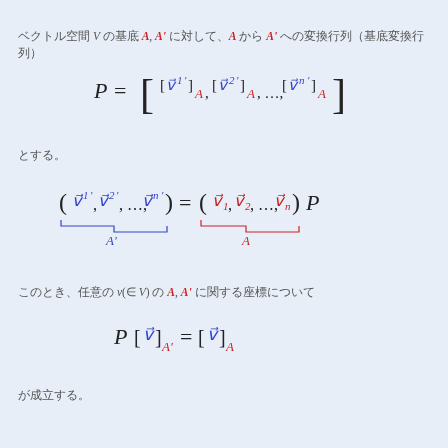ベクトル空間 V の基底 A, A' に対して、A から A' への変換行列（基底変換行列）
とする。
このとき、任意の v(∈ V) の A, A' に関する座標について
が成立する。